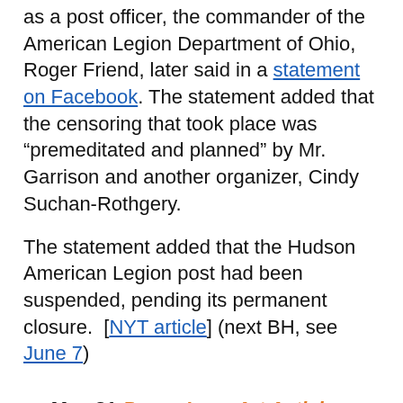as a post officer, the commander of the American Legion Department of Ohio, Roger Friend, later said in a statement on Facebook. The statement added that the censoring that took place was “premeditated and planned” by Mr. Garrison and another organizer, Cindy Suchan-Rothgery.
The statement added that the Hudson American Legion post had been suspended, pending its permanent closure. [NYT article] (next BH, see June 7)
May 31 Peace Love Art Activism
Vietnam
May 31, 1946: Ho Chi Minh left for Paris to iron out the reality of Vietnam as an autonomous state only to find that the French will not specify what is actually meant. During the four months that Minh was in France, his General Vo Nguyen Giap conducted a merciless purge killing landlords and